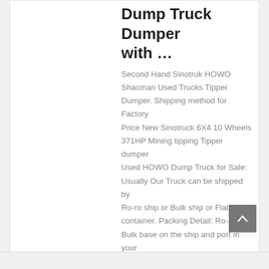Dump Truck Dumper with …
Second Hand Sinotruk HOWO Shacman Used Trucks Tipper Dumper. Shipping method for Factory Price New Sinotruck 6X4 10 Wheels 371HP Mining tipping Tipper dumper Used HOWO Dump Truck for Sale: Usually Our Truck can be shipped by Ro-ro ship or Bulk ship or Flat rack container. Packing Detail: Ro-Ro or Bulk base on the ship and port in your country.
learn More